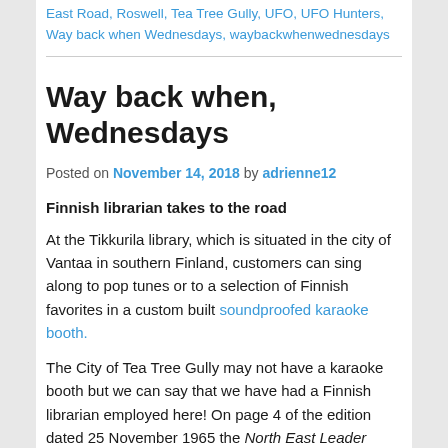East Road, Roswell, Tea Tree Gully, UFO, UFO Hunters, Way back when Wednesdays, waybackwhenwednesdays
Way back when, Wednesdays
Posted on November 14, 2018 by adrienne12
Finnish librarian takes to the road
At the Tikkurila library, which is situated in the city of Vantaa in southern Finland, customers can sing along to pop tunes or to a selection of Finnish favorites in a custom built soundproofed karaoke booth.
The City of Tea Tree Gully may not have a karaoke booth but we can say that we have had a Finnish librarian employed here! On page 4 of the edition dated 25 November 1965 the North East Leader reported on the appointment of Miss Ulla-Maija Salonen to the City of Tea